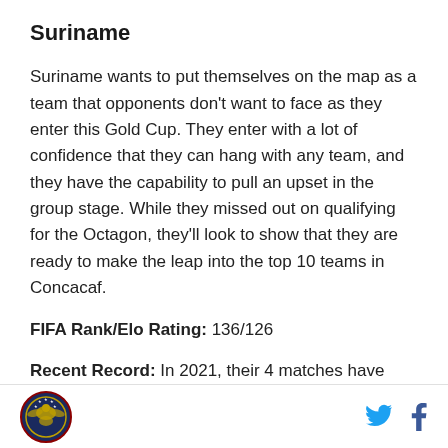Suriname
Suriname wants to put themselves on the map as a team that opponents don’t want to face as they enter this Gold Cup. They enter with a lot of confidence that they can hang with any team, and they have the capability to pull an upset in the group stage. While they missed out on qualifying for the Octagon, they’ll look to show that they are ready to make the leap into the top 10 teams in Concacaf.
FIFA Rank/Elo Rating: 136/126
Recent Record: In 2021, their 4 matches have come during the First Round of World Cup qualifving. They